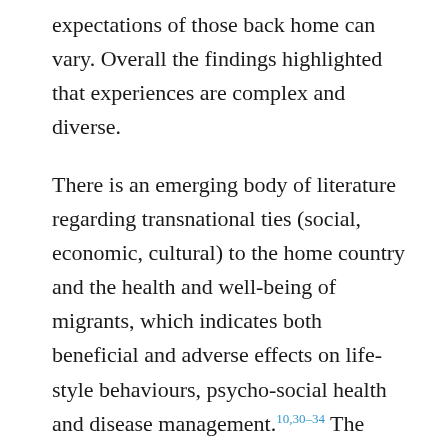expectations of those back home can vary. Overall the findings highlighted that experiences are complex and diverse.
There is an emerging body of literature regarding transnational ties (social, economic, cultural) to the home country and the health and well-being of migrants, which indicates both beneficial and adverse effects on life-style behaviours, psycho-social health and disease management.10,30–34 The preliminary findings here suggest that financial and practical support from family back home help migrants with settling into the new country, while emotional and spiritual support may provide a sense of